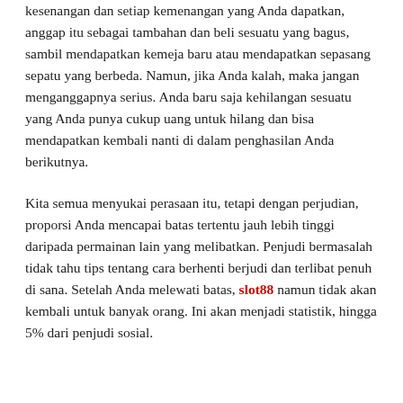kesenangan dan setiap kemenangan yang Anda dapatkan, anggap itu sebagai tambahan dan beli sesuatu yang bagus, sambil mendapatkan kemeja baru atau mendapatkan sepasang sepatu yang berbeda. Namun, jika Anda kalah, maka jangan menganggapnya serius. Anda baru saja kehilangan sesuatu yang Anda punya cukup uang untuk hilang dan bisa mendapatkan kembali nanti di dalam penghasilan Anda berikutnya.
Kita semua menyukai perasaan itu, tetapi dengan perjudian, proporsi Anda mencapai batas tertentu jauh lebih tinggi daripada permainan lain yang melibatkan. Penjudi bermasalah tidak tahu tips tentang cara berhenti berjudi dan terlibat penuh di sana. Setelah Anda melewati batas, slot88 namun tidak akan kembali untuk banyak orang. Ini akan menjadi statistik, hingga 5% dari penjudi sosial.